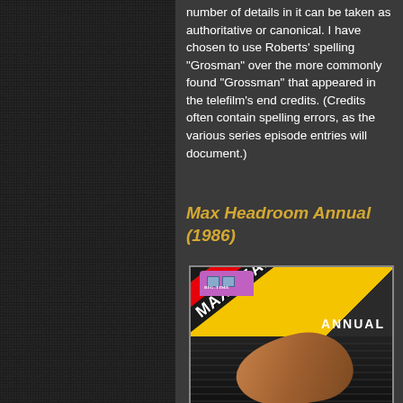number of details in it can be taken as authoritative or canonical. I have chosen to use Roberts' spelling "Grosman" over the more commonly found "Grossman" that appeared in the telefilm's end credits. (Credits often contain spelling errors, as the various series episode entries will document.)
Max Headroom Annual (1986)
[Figure (photo): Book cover of Max Headroom Annual (1986) featuring a yellow and black diagonal design with 'MAX HEADROOM' text on a red diagonal stripe, 'ANNUAL' text in the upper right, a purple bus in the upper left corner, and a human hand/fist in the lower portion against a dark background.]